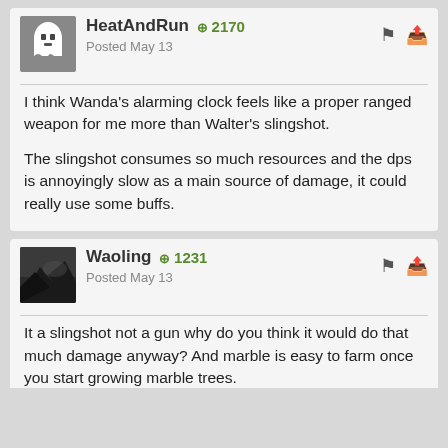HeatAndRun +2170 Posted May 13
I think Wanda's alarming clock feels like a proper ranged weapon for me more than Walter's slingshot.

The slingshot consumes so much resources and the dps is annoyingly slow as a main source of damage, it could really use some buffs.
Waoling +1231 Posted May 13
It a slingshot not a gun why do you think it would do that much damage anyway? And marble is easy to farm once you start growing marble trees.
« PREV   Page 1 of 3   NEXT »